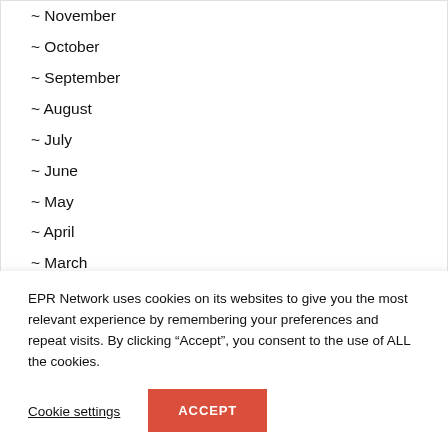~ November
~ October
~ September
~ August
~ July
~ June
~ May
~ April
~ March
~ February
~ January
2014
EPR Network uses cookies on its websites to give you the most relevant experience by remembering your preferences and repeat visits. By clicking “Accept”, you consent to the use of ALL the cookies.
Cookie settings
ACCEPT